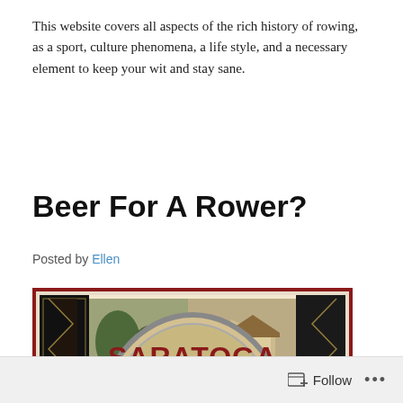This website covers all aspects of the rich history of rowing, as a sport, culture phenomena, a life style, and a necessary element to keep your wit and stay sane.
Beer For A Rower?
Posted by Ellen
[Figure (illustration): Vintage beer label for Saratoga Lager, fresh brewed in Saratoga Springs, New York, featuring horse racing scenes and ornate decorative borders.]
Follow ...